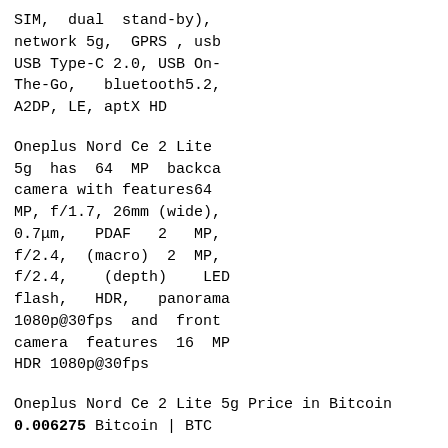SIM,  dual  stand-by),
network 5g,  GPRS , usb
USB Type-C 2.0, USB On-
The-Go,   bluetooth5.2,
A2DP, LE, aptX HD
Oneplus Nord Ce 2 Lite
5g  has  64  MP  backca
camera with features64
MP, f/1.7, 26mm (wide),
0.7μm,   PDAF   2   MP,
f/2.4,   (macro)  2  MP,
f/2.4,    (depth)    LED
flash,   HDR,   panorama
1080p@30fps  and  front
camera  features  16  MP
HDR 1080p@30fps
Oneplus Nord Ce 2 Lite 5g Price in Bitcoin
0.006275 Bitcoin | BTC
Oneplus Nord Ce 2 Lite 5g Price in America 251
American Dollar | USD